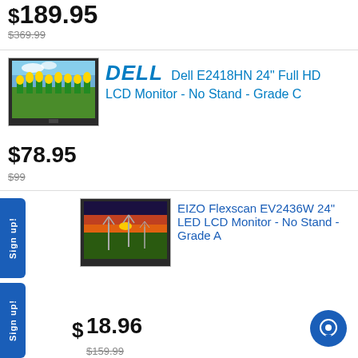$189.95
$369.99
[Figure (photo): Dell monitor displaying yellow tulips field with blue sky]
DELL Dell E2418HN 24" Full HD LCD Monitor - No Stand - Grade C
$78.95
$99
[Figure (photo): Monitor displaying wind turbines at sunset in a green field]
EIZO Flexscan EV2436W 24" LED LCD Monitor - No Stand - Grade A
$118.96
$159.99